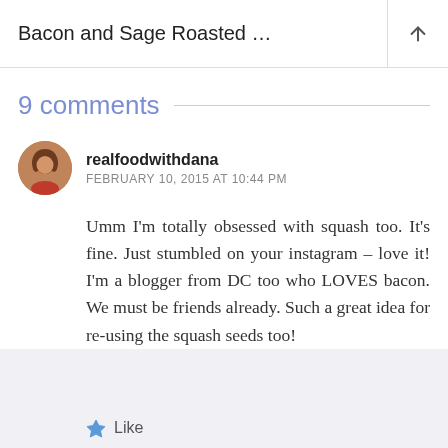Bacon and Sage Roasted …
9 comments
realfoodwithdana
FEBRUARY 10, 2015 AT 10:44 PM
Umm I'm totally obsessed with squash too. It's fine. Just stumbled on your instagram – love it! I'm a blogger from DC too who LOVES bacon. We must be friends already. Such a great idea for re-using the squash seeds too!
Like